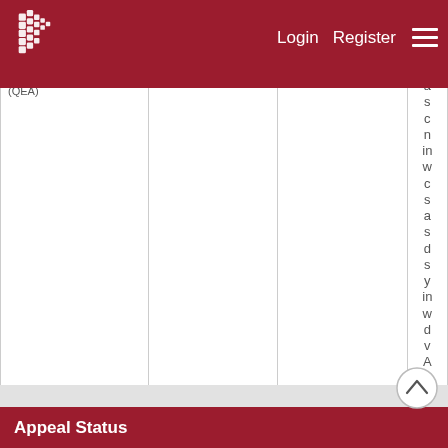Login  Register
| (QEA) |  |  | a s c n in w c s a s d s y in w d v A |
| --- | --- | --- | --- |
|  |  |  |  |
Appeal Status